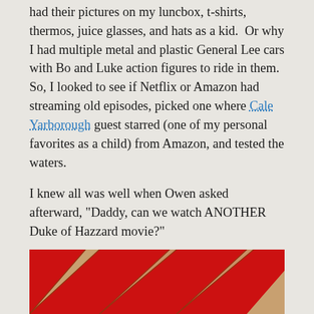had their pictures on my luncbox, t-shirts, thermos, juice glasses, and hats as a kid.  Or why I had multiple metal and plastic General Lee cars with Bo and Luke action figures to ride in them.  So, I looked to see if Netflix or Amazon had streaming old episodes, picked one where Cale Yarborough guest starred (one of my personal favorites as a child) from Amazon, and tested the waters.
I knew all was well when Owen asked afterward, "Daddy, can we watch ANOTHER Duke of Hazzard movie?"
By the time we got to Tom Wopat (aka Luke Duke), there were a little more enthusiastic.
[Figure (photo): Partial view of what appears to be a red and tan/brown striped or angled surface, likely the roof or hood of the General Lee (Dukes of Hazzard car) with its distinctive paint scheme.]